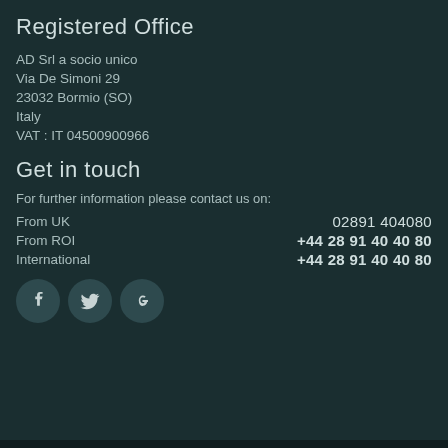Registered Office
AD Srl a socio unico
Via De Simoni 29
23032 Bormio (SO)
Italy
VAT : IT 04500900966
Get in touch
For further information please contact us on:
|  |  |
| --- | --- |
| From UK | 02891 404080 |
| From ROI | +44 28 91 40 40 80 |
| International | +44 28 91 40 40 80 |
[Figure (infographic): Three circular social media icons: Facebook (f), Twitter (bird), and Google+ (g+)]